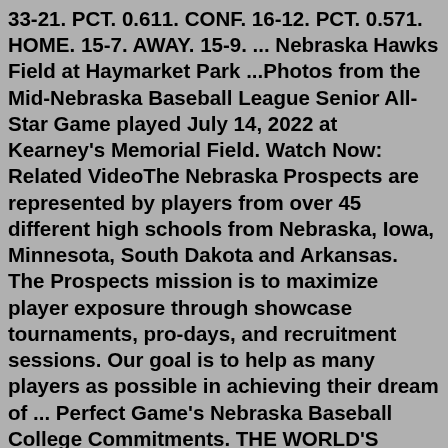33-21. PCT. 0.611. CONF. 16-12. PCT. 0.571. HOME. 15-7. AWAY. 15-9. ... Nebraska Hawks Field at Haymarket Park ...Photos from the Mid-Nebraska Baseball League Senior All-Star Game played July 14, 2022 at Kearney's Memorial Field. Watch Now: Related VideoThe Nebraska Prospects are represented by players from over 45 different high schools from Nebraska, Iowa, Minnesota, South Dakota and Arkansas. The Prospects mission is to maximize player exposure through showcase tournaments, pro-days, and recruitment sessions. Our goal is to help as many players as possible in achieving their dream of ... Perfect Game's Nebraska Baseball College Commitments. THE WORLD'S LARGEST AND MOST COMPREHENSIVE SCOUTING ORGANIZATION ... 2022 PG Pacific Baseball Championship. 2022 PG All-State Games. 2023 PG Super Regional NIT. 2022 PG Invitational National Championship. PG SOFTBALL; Rankings. PLAYER RANKINGS.The official box score of Baseball Nebraska on 5/6/2022. Minnesota...